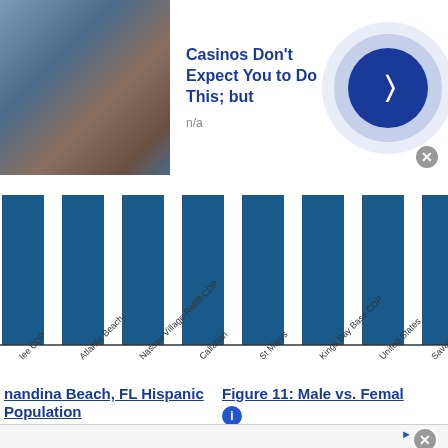[Figure (other): Advertisement banner: Casino-related ad with photo of a man, title 'Casinos Don't Expect You to Do This; but', subtitle 'n/a', with a blue arrow button]
[Figure (bar-chart): Bar chart with teal/dark blue bars and rotated x-axis labels for various locations including Atlantic Beach, Nassau Village-Ratliff CDP, Callahan, St Marys, Kings Bay Base CDP, United States, Savannah]
nandina Beach, FL Hispanic Population
Figure 11: Male vs. Femal
[Figure (other): Advertisement banner: BELK brand ad with photo of women, 'Denim all day.' text and www.belk.com URL, with blue arrow button]